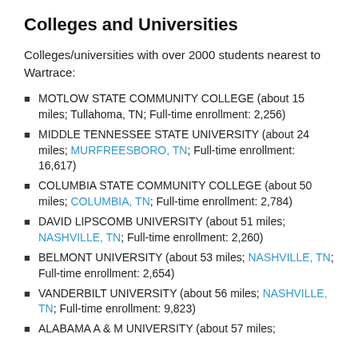Colleges and Universities
Colleges/universities with over 2000 students nearest to Wartrace:
MOTLOW STATE COMMUNITY COLLEGE (about 15 miles; Tullahoma, TN; Full-time enrollment: 2,256)
MIDDLE TENNESSEE STATE UNIVERSITY (about 24 miles; MURFREESBORO, TN; Full-time enrollment: 16,617)
COLUMBIA STATE COMMUNITY COLLEGE (about 50 miles; COLUMBIA, TN; Full-time enrollment: 2,784)
DAVID LIPSCOMB UNIVERSITY (about 51 miles; NASHVILLE, TN; Full-time enrollment: 2,260)
BELMONT UNIVERSITY (about 53 miles; NASHVILLE, TN; Full-time enrollment: 2,654)
VANDERBILT UNIVERSITY (about 56 miles; NASHVILLE, TN; Full-time enrollment: 9,823)
ALABAMA A & M UNIVERSITY (about 57 miles;